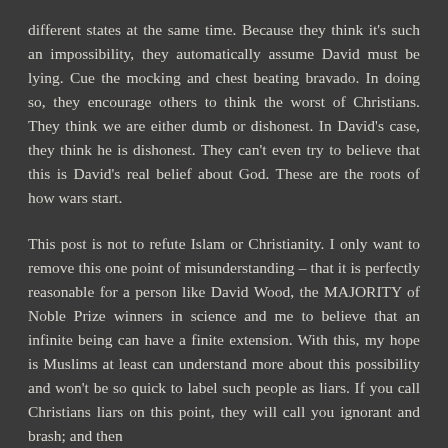different states at the same time. Because they think it's such an impossibility, they automatically assume David must be lying. Cue the mocking and chest beating bravado. In doing so, they encourage others to think the worst of Christians. They think we are either dumb or dishonest. In David's case, they think he is dishonest. They can't even try to believe that this is David's real belief about God. These are the roots of how wars start.
This post is not to refute Islam or Christianity. I only want to remove this one point of misunderstanding – that it is perfectly reasonable for a person like David Wood, the MAJORITY of Noble Prize winners in science and me to believe that an infinite being can have a finite extension. With this, my hope is Muslims at least can understand more about this possibility and won't be so quick to label such people as liars. If you call Christians liars on this point, they will call you ignorant and brash; and then there is no progress.